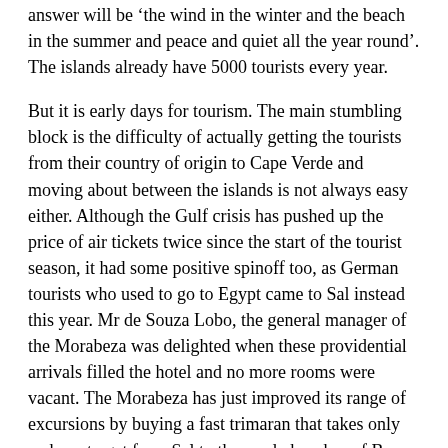answer will be 'the wind in the winter and the beach in the summer and peace and quiet all the year round'. The islands already have 5000 tourists every year.
But it is early days for tourism. The main stumbling block is the difficulty of actually getting the tourists from their country of origin to Cape Verde and moving about between the islands is not always easy either. Although the Gulf crisis has pushed up the price of air tickets twice since the start of the tourist season, it had some positive spinoff too, as German tourists who used to go to Egypt came to Sal instead this year. Mr de Souza Lobo, the general manager of the Morabeza was delighted when these providential arrivals filled the hotel and no more rooms were vacant. The Morabeza has just improved its range of excursions by buying a fast trimaran that takes only an hour to get from Sal to the sandy beaches of Boa Vista, undeniably the finest in the country.
He and his colleague Mr Mendonagree that the government should boost Cape Verde's tourist trade by cutting through the red tape that hinders